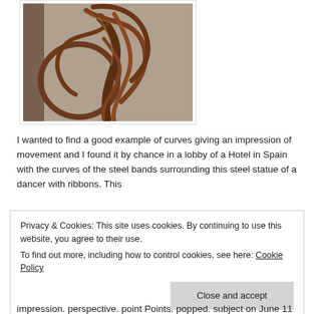[Figure (photo): Photo of a metal sculpture of a dancer with ribbons — brown/rust-colored steel bands curving and swirling around a central figure, displayed in what appears to be a hotel lobby.]
I wanted to find a good example of curves giving an impression of movement and I found it by chance in a lobby of a Hotel in Spain with the curves of the steel bands surrounding this steel statue of a dancer with ribbons. This
Privacy & Cookies: This site uses cookies. By continuing to use this website, you agree to their use.
To find out more, including how to control cookies, see here: Cookie Policy
Close and accept
impression. perspective. point Points. popped. subject on June 11